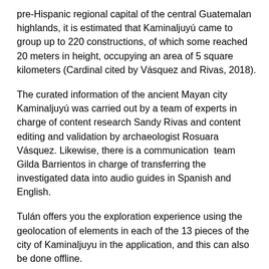pre-Hispanic regional capital of the central Guatemalan highlands, it is estimated that Kaminaljuyú came to group up to 220 constructions, of which some reached 20 meters in height, occupying an area of 5 square kilometers (Cardinal cited by Vásquez and Rivas, 2018).
The curated information of the ancient Mayan city Kaminaljuyú was carried out by a team of experts in charge of content research Sandy Rivas and content editing and validation by archaeologist Rosuara Vásquez. Likewise, there is a communication  team Gilda Barrientos in charge of transferring the investigated data into audio guides in Spanish and English.
Tulán offers you the exploration experience using the geolocation of elements in each of the 13 pieces of the city of Kaminaljuyu in the application, and this can also be done offline.
We recommend the following route:
- Kaminaljuyú